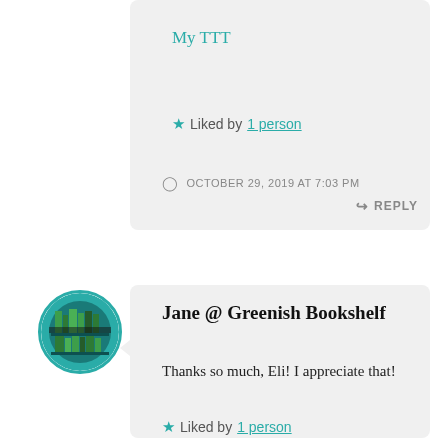My TTT
Liked by 1 person
OCTOBER 29, 2019 AT 7:03 PM
REPLY
Jane @ Greenish Bookshelf
Thanks so much, Eli! I appreciate that!
Liked by 1 person